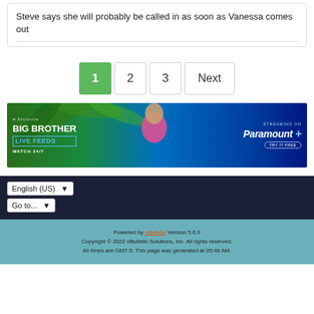Steve says she will probably be called in as soon as Vanessa comes out
[Figure (other): Pagination bar with page buttons: 1 (active/green), 2, 3, Next]
[Figure (photo): Big Brother Live Feeds advertisement banner featuring a woman in pink top with palm trees background, text: BIG BROTHER LIVE FEEDS WATCH 24/7 STREAMING ON Paramount+ TRY IT FREE]
English (US)
Go to...
Powered by vBulletin Version 5.6.9 Copyright © 2022 vBulletin Solutions, Inc. All rights reserved. All times are GMT-5. This page was generated at 05:46 AM.